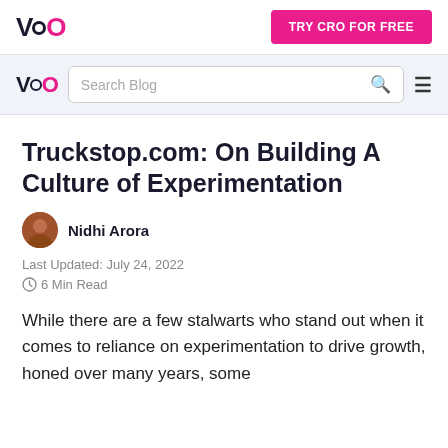VWO | TRY CRO FOR FREE
VWO Search Blog (navigation bar)
Truckstop.com: On Building A Culture of Experimentation
Nidhi Arora
Last Updated: July 24, 2022
6 Min Read
While there are a few stalwarts who stand out when it comes to reliance on experimentation to drive growth, honed over many years, some